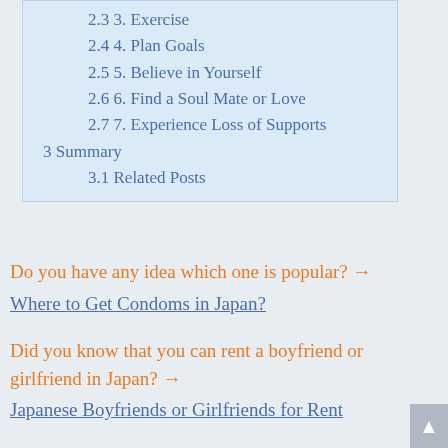2.3 3. Exercise
2.4 4. Plan Goals
2.5 5. Believe in Yourself
2.6 6. Find a Soul Mate or Love
2.7 7. Experience Loss of Supports
3 Summary
3.1 Related Posts
Do you have any idea which one is popular? →
Where to Get Condoms in Japan?
Did you know that you can rent a boyfriend or girlfriend in Japan? →
Japanese Boyfriends or Girlfriends for Rent